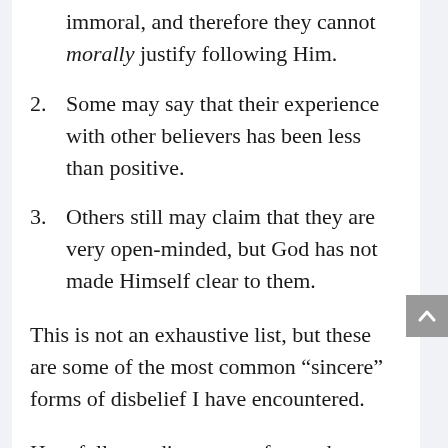immoral, and therefore they cannot morally justify following Him.
2. Some may say that their experience with other believers has been less than positive.
3. Others still may claim that they are very open-minded, but God has not made Himself clear to them.
This is not an exhaustive list, but these are some of the most common “sincere” forms of disbelief I have encountered.
Hopefully, reading some of my other